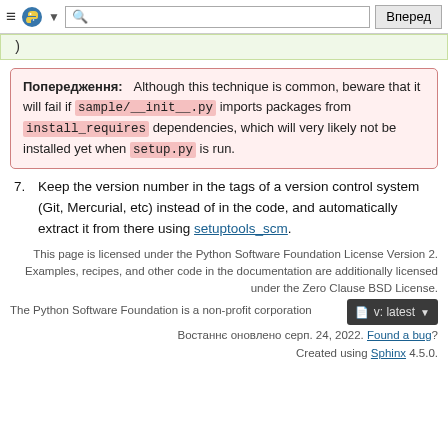≡ 🐍 ▼  [search]  Вперед
)
Попередження: Although this technique is common, beware that it will fail if sample/__init__.py imports packages from install_requires dependencies, which will very likely not be installed yet when setup.py is run.
7. Keep the version number in the tags of a version control system (Git, Mercurial, etc) instead of in the code, and automatically extract it from there using setuptools_scm.
This page is licensed under the Python Software Foundation License Version 2. Examples, recipes, and other code in the documentation are additionally licensed under the Zero Clause BSD License.
The Python Software Foundation is a non-profit corporation
Востаннє оновлено серп. 24, 2022. Found a bug? Created using Sphinx 4.5.0.